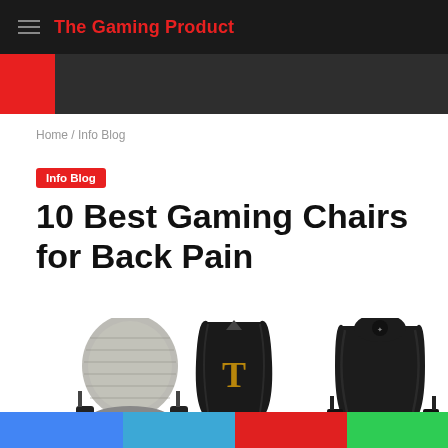The Gaming Product
Home / Info Blog
Info Blog
10 Best Gaming Chairs for Back Pain
[Figure (photo): Three gaming chairs side by side: a gray mesh ergonomic office chair on the left, a black gaming chair with gold T logo in the center, and a black gaming chair with logo on the right.]